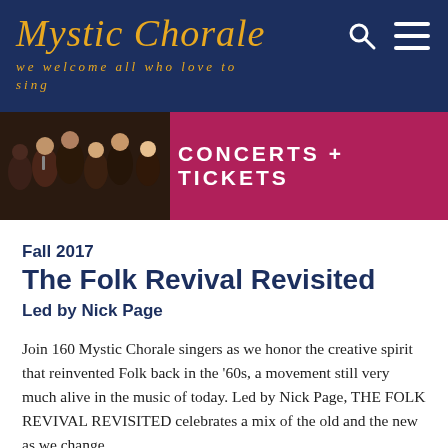Mystic Chorale — we welcome all who love to sing
[Figure (photo): Mystic Chorale singers performing, with a crimson banner reading CONCERTS + TICKETS]
Fall 2017
The Folk Revival Revisited
Led by Nick Page
Join 160 Mystic Chorale singers as we honor the creative spirit that reinvented Folk back in the '60s, a movement still very much alive in the music of today. Led by Nick Page, THE FOLK REVIVAL REVISITED celebrates a mix of the old and the new as we change